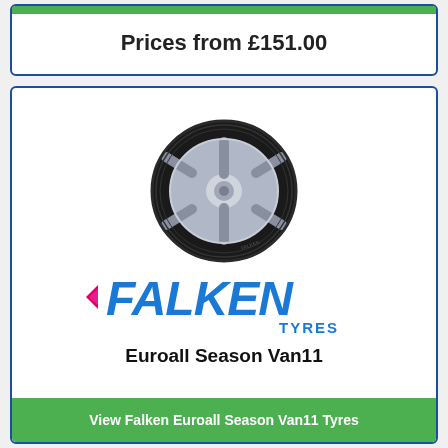Prices from £151.00
[Figure (photo): Falken tyre product photo - a black tyre with silver alloy wheel rim, Falken branding visible on sidewall]
[Figure (logo): Falken Tyres logo - FALKEN in bold blue italic letters with a pink/magenta arrow chevron to the left, TYRES in smaller blue text below]
Euroall Season Van11
View Falken Euroall Season Van11 Tyres